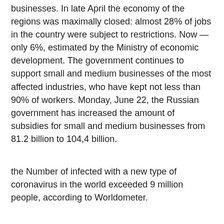businesses. In late April the economy of the regions was maximally closed: almost 28% of jobs in the country were subject to restrictions. Now — only 6%, estimated by the Ministry of economic development. The government continues to support small and medium businesses of the most affected industries, who have kept not less than 90% of workers. Monday, June 22, the Russian government has increased the amount of subsidies for small and medium businesses from 81.2 billion to 104,4 billion.
the Number of infected with a new type of coronavirus in the world exceeded 9 million people, according to Worldometer.